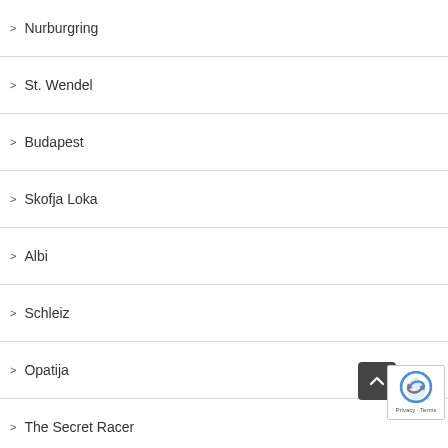Nurburgring
St. Wendel
Budapest
Skofja Loka
Albi
Schleiz
Opatija
The Secret Racer
Luneville
Bautzen
Pistany